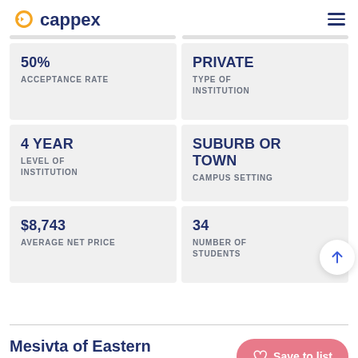cappex
50% ACCEPTANCE RATE
PRIVATE TYPE OF INSTITUTION
4 YEAR LEVEL OF INSTITUTION
SUBURB OR TOWN CAMPUS SETTING
$8,743 AVERAGE NET PRICE
34 NUMBER OF STUDENTS
Mesivta of Eastern Parkway-Yeshiva